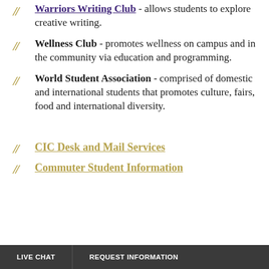Warriors Writing Club - allows students to explore creative writing.
Wellness Club - promotes wellness on campus and in the community via education and programming.
World Student Association - comprised of domestic and international students that promotes culture, fairs, food and international diversity.
CIC Desk and Mail Services
Commuter Student Information
LIVE CHAT | REQUEST INFORMATION